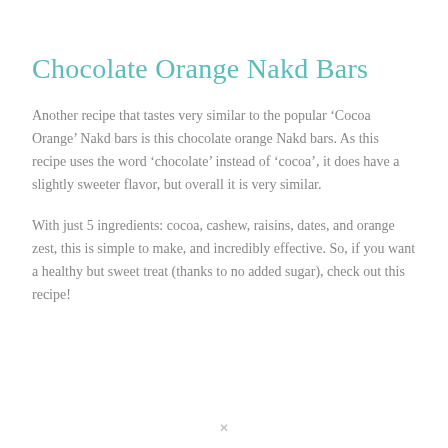Chocolate Orange Nakd Bars
Another recipe that tastes very similar to the popular ‘Cocoa Orange’ Nakd bars is this chocolate orange Nakd bars. As this recipe uses the word ‘chocolate’ instead of ‘cocoa’, it does have a slightly sweeter flavor, but overall it is very similar.
With just 5 ingredients: cocoa, cashew, raisins, dates, and orange zest, this is simple to make, and incredibly effective. So, if you want a healthy but sweet treat (thanks to no added sugar), check out this recipe!